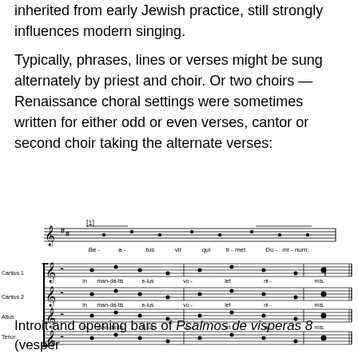inherited from early Jewish practice, still strongly influences modern singing.
Typically, phrases, lines or verses might be sung alternately by priest and choir. Or two choirs — Renaissance choral settings were sometimes written for either odd or even verses, cantor or second choir taking the alternate verses:
[Figure (illustration): Musical score showing choral notation. Top staff: plainchant melody with text 'Be-a-tus vir qui ti-met Do-mi-num:'. Below: four-part choral score (Cantus 1, Cantus 2, Altus, Tenor) with text 'In man-da-tis e-ius vo-let ni-mis.' for each voice.]
Introit and opening bars of Psalmos de visperas 8 (vesper